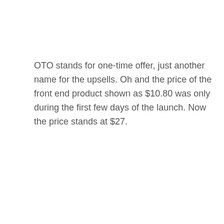OTO stands for one-time offer, just another name for the upsells. Oh and the price of the front end product shown as $10.80 was only during the first few days of the launch. Now the price stands at $27.